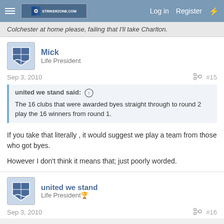Log in  Register
Colchester at home please, failing that I'll take Charlton.
Mick
Life President
Sep 3, 2010  #15
united we stand said: ↑
The 16 clubs that were awarded byes straight through to round 2 play the 16 winners from round 1.
If you take that literally , it would suggest we play a team from those who got byes.

However I don't think it means that; just poorly worded.
united we stand
Life President🏆
Sep 3, 2010  #16